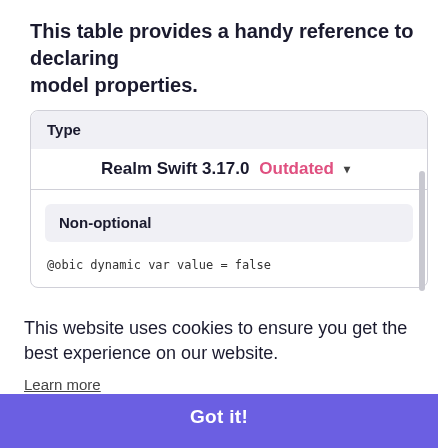This table provides a handy reference to declaring model properties.
| Type |
| --- |
| Realm Swift 3.17.0  Outdated ▾ |
| Non-optional |
| @obic dynamic var value = false |
This website uses cookies to ensure you get the best experience on our website. Learn more
Got it!